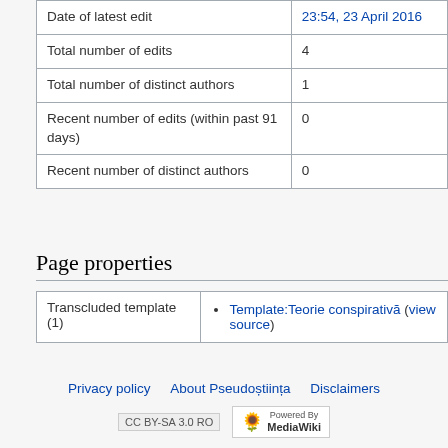|  |  |
| --- | --- |
| Date of latest edit | 23:54, 23 April 2016 |
| Total number of edits | 4 |
| Total number of distinct authors | 1 |
| Recent number of edits (within past 91 days) | 0 |
| Recent number of distinct authors | 0 |
Page properties
|  |  |
| --- | --- |
| Transcluded template (1) | Template:Teorie conspirativă (view source) |
Privacy policy   About Pseudoștiința   Disclaimers